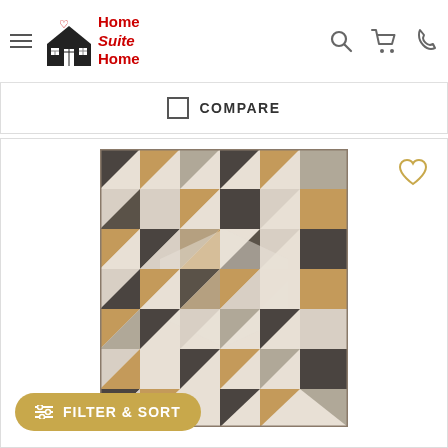Home Suite Home — navigation header with logo, hamburger menu, search, cart, and phone icons
COMPARE
[Figure (photo): A geometric patterned area rug with triangular shapes in beige, brown, taupe, and charcoal/dark gray tones on a light background]
FILTER & SORT